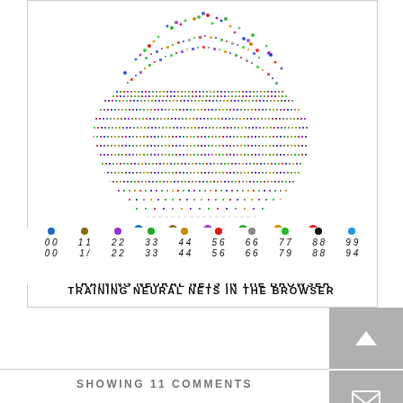[Figure (scatter-plot): A circular scatter plot visualization showing neural network training data for digits 0-9, with dots colored by digit class arranged in a spherical/circular cluster. Below the scatter cloud is a legend row showing colored dots and handwritten-style digit examples for each class 0-9.]
TRAINING NEURAL NETS IN THE BROWSER
SHOWING 11 COMMENTS